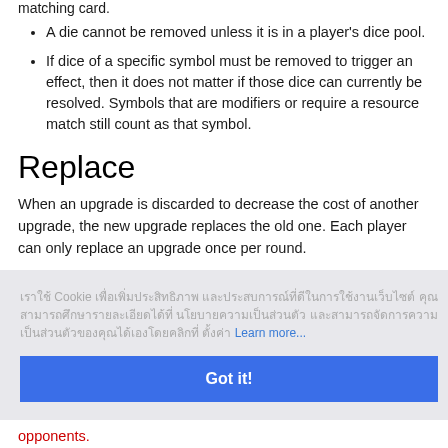matching card.
A die cannot be removed unless it is in a player's dice pool.
If dice of a specific symbol must be removed to trigger an effect, then it does not matter if those dice can currently be resolved. Symbols that are modifiers or require a resource match still count as that symbol.
Replace
When an upgrade is discarded to decrease the cost of another upgrade, the new upgrade replaces the old one. Each player can only replace an upgrade once per round.
[Cookie banner overlay - Thai text] Learn more... Got it!
g it into
look at to
opponents.